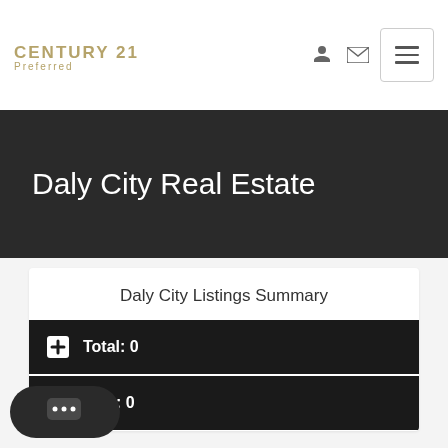[Figure (logo): Century 21 Preferred logo with golden/tan text]
Daly City Real Estate
Daly City Listings Summary
Total: 0
New: 0